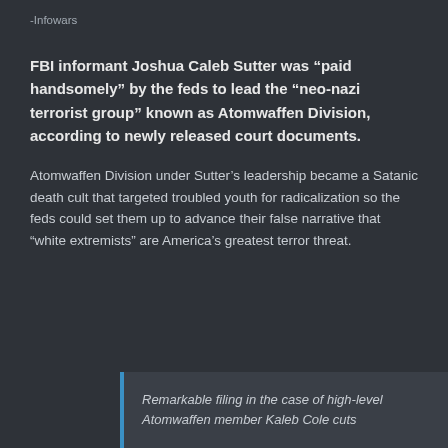-Infowars
FBI informant Joshua Caleb Sutter was “paid handsomely” by the feds to lead the “neo-nazi terrorist group” known as Atomwaffen Division, according to newly released court documents.
Atomwaffen Division under Sutter’s leadership became a Satanic death cult that targeted troubled youth for radicalization so the feds could set them up to advance their false narrative that “white extremists” are America’s greatest terror threat.
Remarkable filing in the case of high-level Atomwaffen member Kaleb Cole cuts